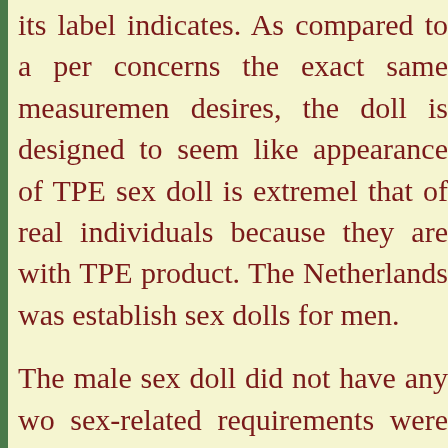its label indicates. As compared to a person concerns the exact same measurements desires, the doll is designed to seem like appearance of TPE sex doll is extremely that of real individuals because they are with TPE product. The Netherlands was establish sex dolls for men.
The male sex doll did not have any women sex-related requirements were actually Consequently, they mimicked actual ladies cruising. In its beginning, this dolly essential. The doll market...Read More